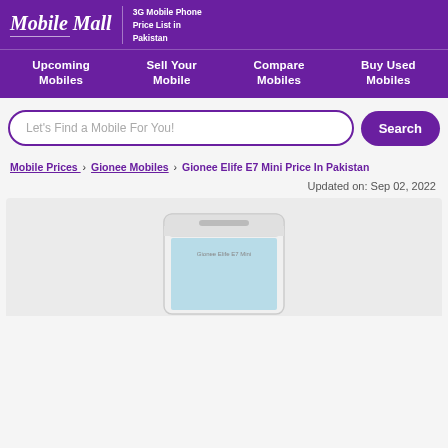Mobile Mall – 3G Mobile Phone Price List in Pakistan
Upcoming Mobiles | Sell Your Mobile | Compare Mobiles | Buy Used Mobiles
Let's Find a Mobile For You! Search
Mobile Prices > Gionee Mobiles > Gionee Elife E7 Mini Price In Pakistan
Updated on: Sep 02, 2022
[Figure (photo): Partial view of a Gionee Elife E7 Mini smartphone mockup showing the top portion of the device]